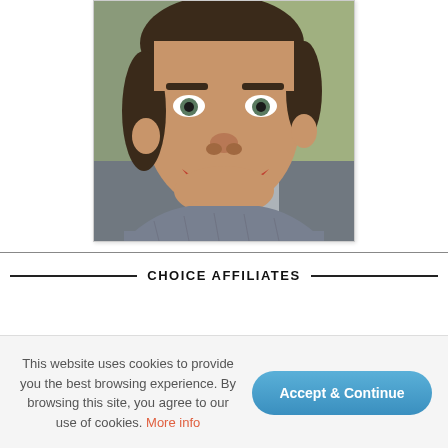[Figure (photo): A young man smiling in a selfie taken inside a car, wearing a grey knit sweater, with long dark hair pulled back. The photo is framed with a white border and light shadow.]
CHOICE AFFILIATES
This website uses cookies to provide you the best browsing experience. By browsing this site, you agree to our use of cookies. More info